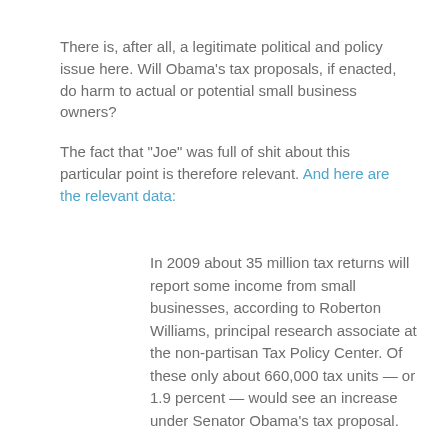There is, after all, a legitimate political and policy issue here. Will Obama's tax proposals, if enacted, do harm to actual or potential small business owners?
The fact that "Joe" was full of shit about this particular point is therefore relevant. And here are the relevant data:
In 2009 about 35 million tax returns will report some income from small businesses, according to Roberton Williams, principal research associate at the non-partisan Tax Policy Center. Of these only about 660,000 tax units — or 1.9 percent — would see an increase under Senator Obama's tax proposal.